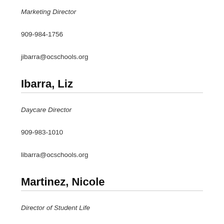Marketing Director
909-984-1756
jibarra@ocschools.org
Ibarra, Liz
Daycare Director
909-983-1010
libarra@ocschools.org
Martinez, Nicole
Director of Student Life